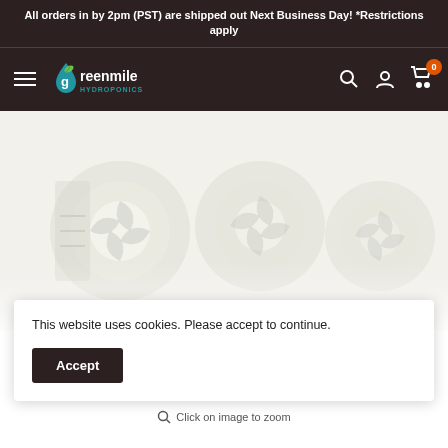All orders in by 2pm (PST) are shipped out Next Business Day! *Restrictions apply
[Figure (logo): Greenmile Hydroponics logo with navigation icons (hamburger menu, search, account, cart with badge showing 0)]
[Figure (photo): Product photo showing white/clear hydroponic equipment, fans or similar components on a light background]
This website uses cookies. Please accept to continue.
Accept
Click on image to zoom